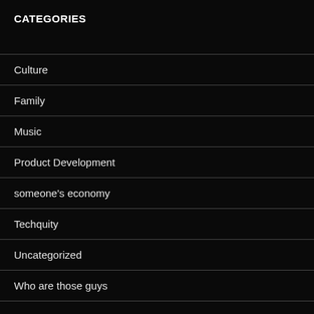CATEGORIES
Culture
Family
Music
Product Development
someone's economy
Techquity
Uncategorized
Who are those guys
META